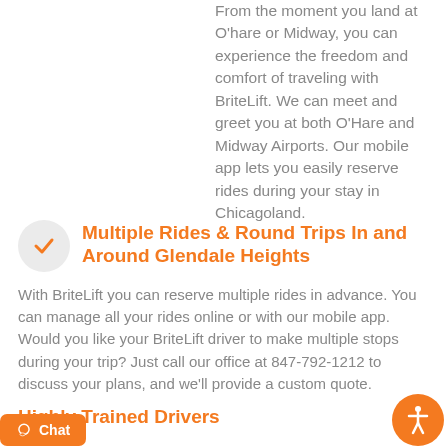From the moment you land at O'hare or Midway, you can experience the freedom and comfort of traveling with BriteLift. We can meet and greet you at both O'Hare and Midway Airports. Our mobile app lets you easily reserve rides during your stay in Chicagoland.
Multiple Rides & Round Trips In and Around Glendale Heights
With BriteLift you can reserve multiple rides in advance. You can manage all your rides online or with our mobile app. Would you like your BriteLift driver to make multiple stops during your trip? Just call our office at 847-792-1212 to discuss your plans, and we'll provide a custom quote.
Highly Trained Drivers